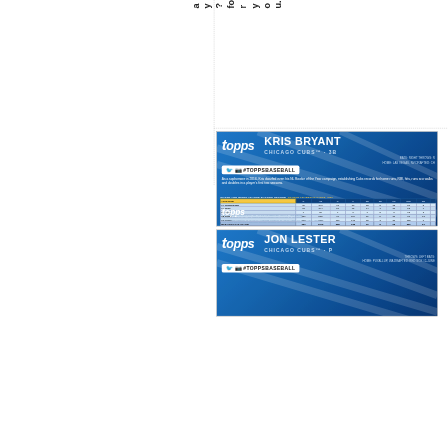a
y
?
for
y
o
u.
[Figure (photo): Back of a Topps baseball card for Kris Bryant, Chicago Cubs, 3B. Shows the Topps logo, player name, team, position, social media badge #TOPPSBASEBALL, biographical text about his 2016 season, and a Major and Minor League Batting Record stats table with rows for Tennessee, Iowa (multiple years), Cubs (multiple years), and MLB Totals (2 Years): 306, 1102, 208, 330, 86, 8, 85, 201, 21.]
[Figure (photo): Back of a Topps baseball card for Jon Lester, Chicago Cubs, P. Shows the Topps logo, player name, team, position, home/drafted info, and #TOPPSBASEBALL social badge (partially visible).]